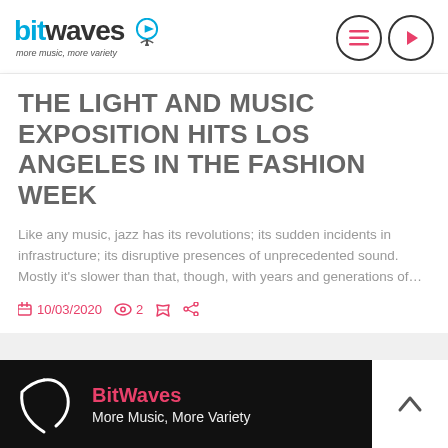bitwaves — more music, more variety
THE LIGHT AND MUSIC EXPOSITION HITS LOS ANGELES IN THE FASHION WEEK
Like any music, jazz has its revolutions; its sudden incidents in infrastructure; its disruptive presences of unprecedented sound. Mostly it's slower than that, though, with years and generations of…
10/03/2020  2
BitWaves — More Music, More Variety